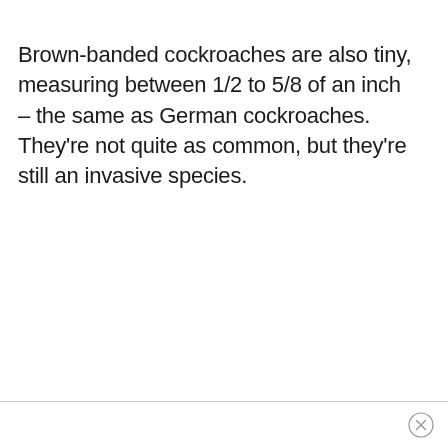Brown-banded cockroaches are also tiny, measuring between 1/2 to 5/8 of an inch – the same as German cockroaches. They're not quite as common, but they're still an invasive species.